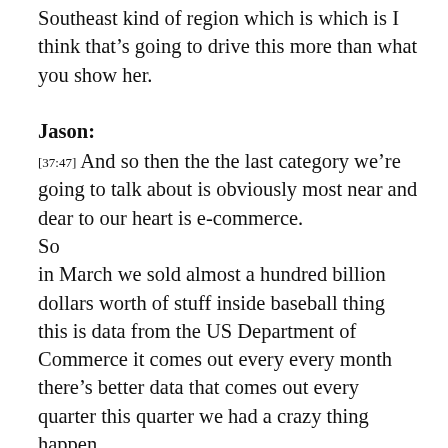Southeast kind of region which is which is I think that's going to drive this more than what you show her.
Jason:
[37:47] And so then the the last category we're going to talk about is obviously most near and dear to our heart is e-commerce. So in March we sold almost a hundred billion dollars worth of stuff inside baseball thing this is data from the US Department of Commerce it comes out every every month there's better data that comes out every quarter this quarter we had a crazy thing happen, the US Department of Commerce restated the